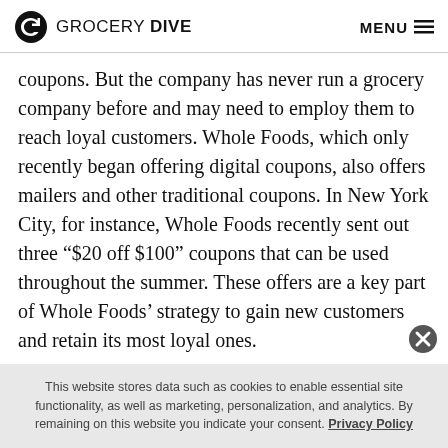GROCERY DIVE  MENU
coupons. But the company has never run a grocery company before and may need to employ them to reach loyal customers. Whole Foods, which only recently began offering digital coupons, also offers mailers and other traditional coupons. In New York City, for instance, Whole Foods recently sent out three “$20 off $100” coupons that can be used throughout the summer. These offers are a key part of Whole Foods’ strategy to gain new customers and retain its most loyal ones.
This website stores data such as cookies to enable essential site functionality, as well as marketing, personalization, and analytics. By remaining on this website you indicate your consent. Privacy Policy